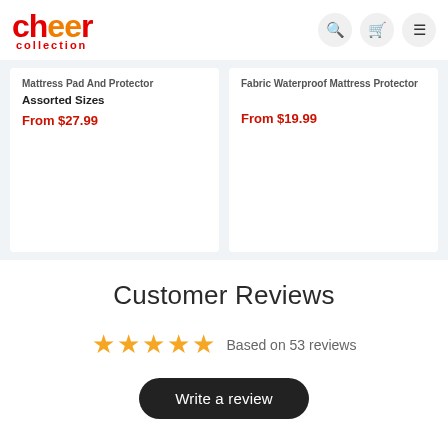[Figure (logo): Cheer Collection logo with red and orange text]
Mattress Pad And Protector Assorted Sizes From $27.99
Fabric Waterproof Mattress Protector From $19.99
Customer Reviews
★★★★★ Based on 53 reviews
Write a review